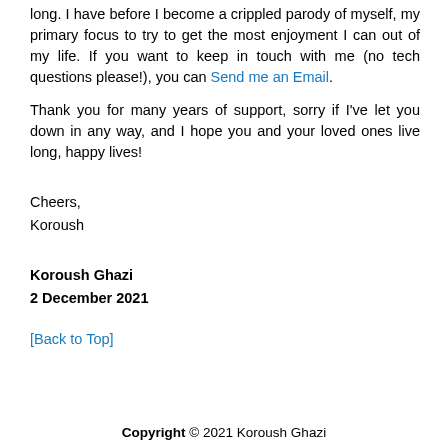long. I have before I become a crippled parody of myself, my primary focus to try to get the most enjoyment I can out of my life. If you want to keep in touch with me (no tech questions please!), you can Send me an Email.
Thank you for many years of support, sorry if I've let you down in any way, and I hope you and your loved ones live long, happy lives!
Cheers,
Koroush
Koroush Ghazi
2 December 2021
[Back to Top]
Copyright © 2021 Koroush Ghazi